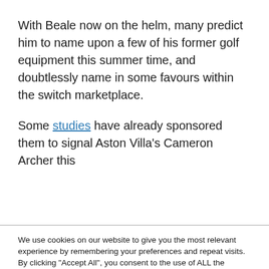With Beale now on the helm, many predict him to name upon a few of his former golf equipment this summer time, and doubtlessly name in some favours within the switch marketplace.
Some studies have already sponsored them to signal Aston Villa's Cameron Archer this
We use cookies on our website to give you the most relevant experience by remembering your preferences and repeat visits. By clicking “Accept All”, you consent to the use of ALL the cookies. However, you may visit "Cookie Settings" to provide a controlled consent.